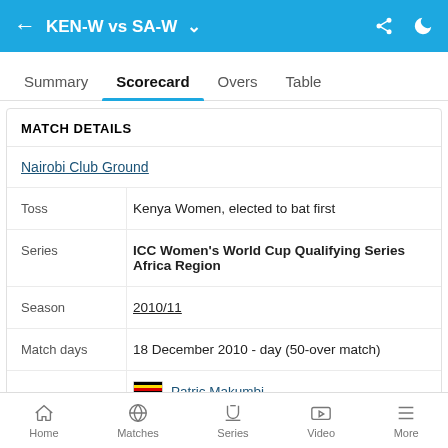KEN-W vs SA-W
Summary | Scorecard | Overs | Table
MATCH DETAILS
| Field | Value |
| --- | --- |
| Nairobi Club Ground |  |
| Toss | Kenya Women, elected to bat first |
| Series | ICC Women's World Cup Qualifying Series Africa Region |
| Season | 2010/11 |
| Match days | 18 December 2010 - day (50-over match) |
| Umpires | Patric Makumbi |
Home | Matches | Series | Video | More